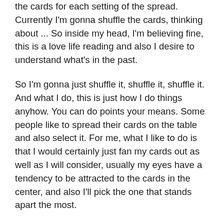the cards for each setting of the spread. Currently I'm gonna shuffle the cards, thinking about ... So inside my head, I'm believing fine, this is a love life reading and also I desire to understand what's in the past.
So I'm gonna just shuffle it, shuffle it, shuffle it. And what I do, this is just how I do things anyhow. You can do points your means. Some people like to spread their cards on the table and also select it. For me, what I like to do is that I would certainly just fan my cards out as well as I will consider, usually my eyes have a tendency to be attracted to the cards in the center, and also I'll pick the one that stands apart the most.